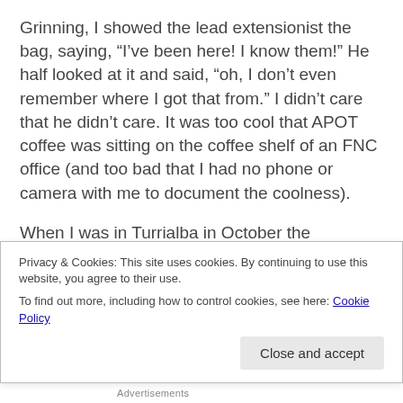Grinning, I showed the lead extensionist the bag, saying, “I’ve been here! I know them!” He half looked at it and said, “oh, I don’t even remember where I got that from.” I didn’t care that he didn’t care. It was too cool that APOT coffee was sitting on the coffee shelf of an FNC office (and too bad that I had no phone or camera with me to document the coolness).
When I was in Turrialba in October the members were trying to resurrect APOT from the ruins of a corrupt former president. They weren’t even
Privacy & Cookies: This site uses cookies. By continuing to use this website, you agree to their use.
To find out more, including how to control cookies, see here: Cookie Policy
Close and accept
Advertisements